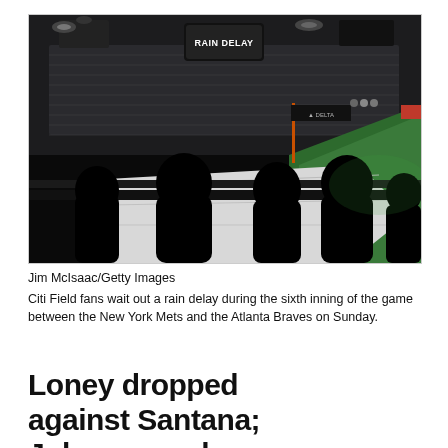[Figure (photo): Silhouettes of fans at Citi Field watching a rain delay. The field is covered with a tarp. A scoreboard reads 'RAIN DELAY'. Stadium seats are visible in the background.]
Jim McIsaac/Getty Images
Citi Field fans wait out a rain delay during the sixth inning of the game between the New York Mets and the Atlanta Braves on Sunday.
Loney dropped against Santana; Johnson and